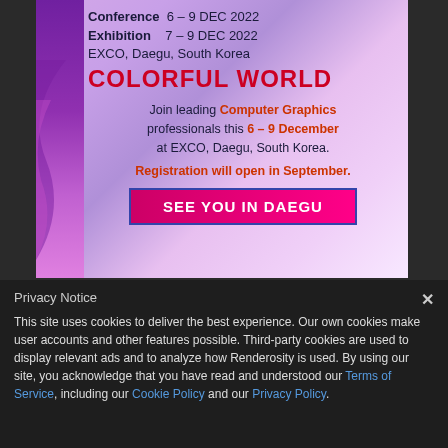[Figure (other): Conference advertisement banner for SIGGRAPH Asia 2022 in Daegu, South Korea. Purple gradient background with text about conference dates (6-9 Dec 2022), exhibition dates (7-9 Dec 2022), EXCO Daegu South Korea venue, COLORFUL WORLD theme, invitation to join Computer Graphics professionals, registration notice, and SEE YOU IN DAEGU button.]
Privacy Notice
This site uses cookies to deliver the best experience. Our own cookies make user accounts and other features possible. Third-party cookies are used to display relevant ads and to analyze how Renderosity is used. By using our site, you acknowledge that you have read and understood our Terms of Service, including our Cookie Policy and our Privacy Policy.